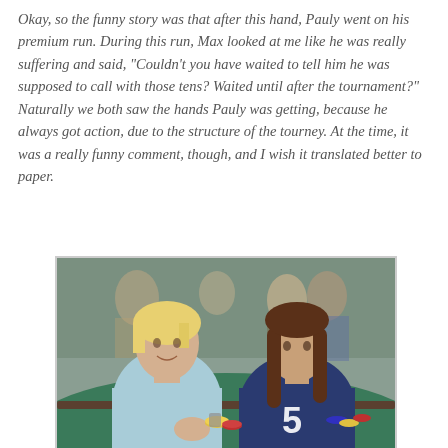Okay, so the funny story was that after this hand, Pauly went on his premium run. During this run, Max looked at me like he was really suffering and said, "Couldn't you have waited to tell him he was supposed to call with those tens? Waited until after the tournament?" Naturally we both saw the hands Pauly was getting, because he always got action, due to the structure of the tourney. At the time, it was a really funny comment, though, and I wish it translated better to paper.
[Figure (photo): Two people sitting at a poker table in a casino. On the left is a woman with short blonde hair wearing a light blue long-sleeve shirt (Felicia). On the right is a person with long brown hair wearing a dark sports jersey with the number 5 (Al). There are poker chips on the green felt table and other players visible in the background.]
Felicia and Al before he lost to my AA.